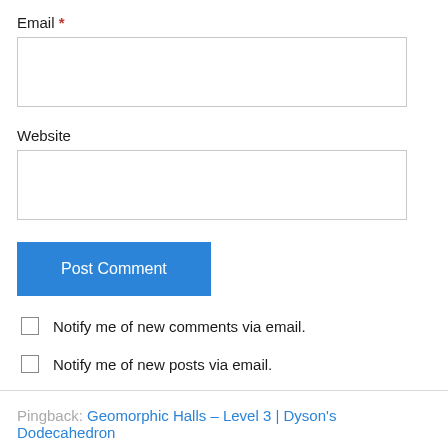Email *
Website
Post Comment
Notify me of new comments via email.
Notify me of new posts via email.
Pingback: Geomorphic Halls – Level 3 | Dyson's Dodecahedron